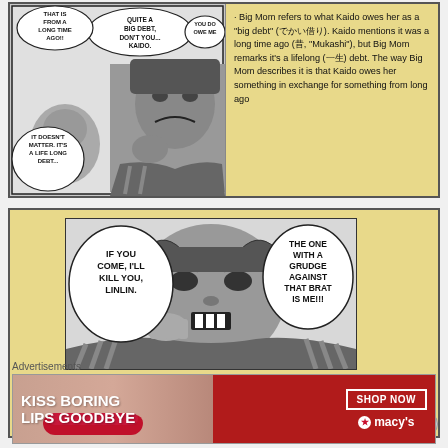[Figure (illustration): Manga panel showing characters discussing a debt. Speech bubbles read: 'THAT IS FROM A LONG TIME AGO!!', 'QUITE A BIG DEBT, DON'T YOU... KAIDO.', 'YOU DO OWE ME', 'IT DOESN'T MATTER. IT'S A LIFE LONG DEBT...']
· Big Mom refers to what Kaido owes her as a "big debt" (でかい借り). Kaido mentions it was a long time ago (昔, "Mukashi"), but Big Mom remarks it's a lifelong (一生) debt. The way Big Mom describes it is that Kaido owes her something in exchange for something from long ago
[Figure (illustration): Manga panel showing Kaido with an angry expression, pointing. Speech bubbles read: 'IF YOU COME, I'LL KILL YOU, LINLIN.' and 'THE ONE WITH A GRUDGE AGAINST THAT BRAT IS ME!!!']
· This is pretty straightforward, Kaido specifies he is the one with a grudge against Luffy, though he calls him "that brat" (あのこぞ). He follows by saying that if Big Mom comes, he will kill her. Interestingly, he addresses her as "Linlin", by first name, indicating a level of acquaintance with her in the past
Advertisements
[Figure (photo): Advertisement banner for Macy's showing a woman's face with red lipstick. Text: 'KISS BORING LIPS GOODBYE', 'SHOP NOW', 'macy's' with star logo]